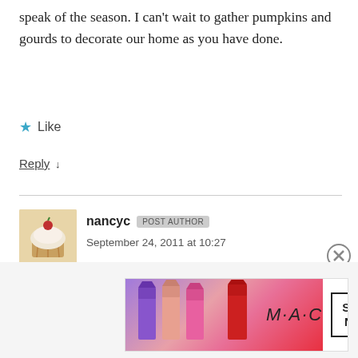speak of the season. I can't wait to gather pumpkins and gourds to decorate our home as you have done.
★ Like
Reply ↓
nancyc  POST AUTHOR
September 24, 2011 at 10:27
Thanks for your nice comment, Susan! I can't take credit for these pretty wreaths and arrangements, though...they are from BetterHomesandGardens.com. But they sure are inspiring me, and I hope to do some autumn decorating this
Advertisements
[Figure (photo): MAC cosmetics advertisement showing lipsticks in purple, pink, salmon and red colors with MAC logo and SHOP NOW button]